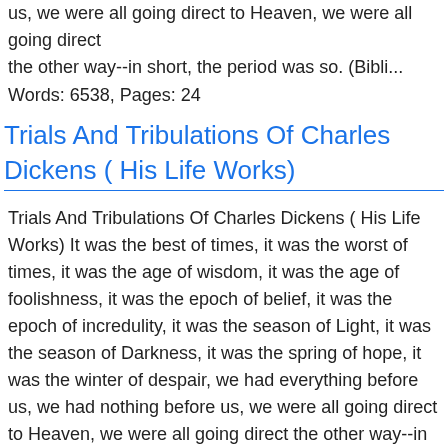us, we were all going direct to Heaven, we were all going direct the other way--in short, the period was so. (Bibli...
Words: 6538, Pages: 24
Trials And Tribulations Of Charles Dickens ( His Life Works)
Trials And Tribulations Of Charles Dickens ( His Life Works) It was the best of times, it was the worst of times, it was the age of wisdom, it was the age of foolishness, it was the epoch of belief, it was the epoch of incredulity, it was the season of Light, it was the season of Darkness, it was the spring of hope, it was the winter of despair, we had everything before us, we had nothing before us, we were all going direct to Heaven, we were all going direct the other way--in short, the period ...
Words: 6203, Pages: 22